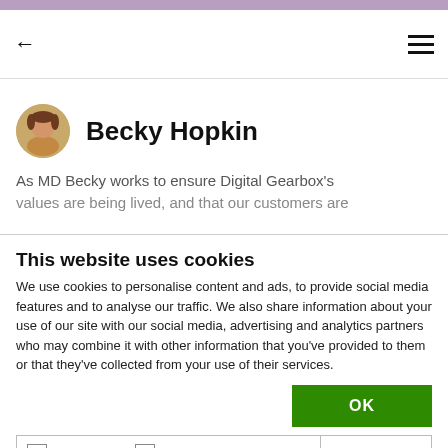← [back] ≡ [menu]
Becky Hopkin
As MD Becky works to ensure Digital Gearbox's values are being lived, and that our customers are
This website uses cookies
We use cookies to personalise content and ads, to provide social media features and to analyse our traffic. We also share information about your use of our site with our social media, advertising and analytics partners who may combine it with other information that you've provided to them or that they've collected from your use of their services.
OK
Necessary  Preferences  Statistics  Marketing  Show details